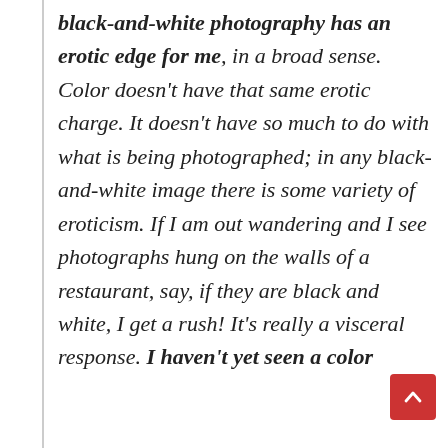black-and-white photography has an erotic edge for me, in a broad sense. Color doesn't have that same erotic charge. It doesn't have so much to do with what is being photographed; in any black-and-white image there is some variety of eroticism. If I am out wandering and I see photographs hung on the walls of a restaurant, say, if they are black and white, I get a rush! It's really a visceral response. I haven't yet seen a color